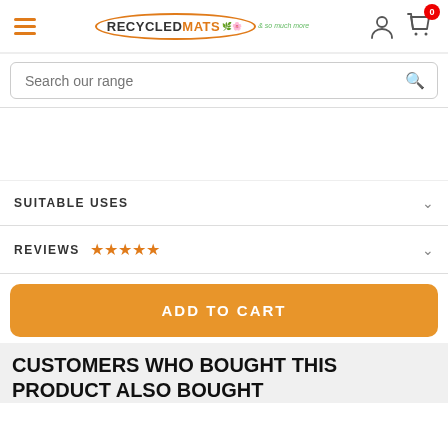[Figure (screenshot): Website header with hamburger menu, RecycledMats logo in oval, user icon, and shopping cart with badge showing 0]
Search our range
SUITABLE USES
REVIEWS ★★★★★
ADD TO CART
CUSTOMERS WHO BOUGHT THIS PRODUCT ALSO BOUGHT